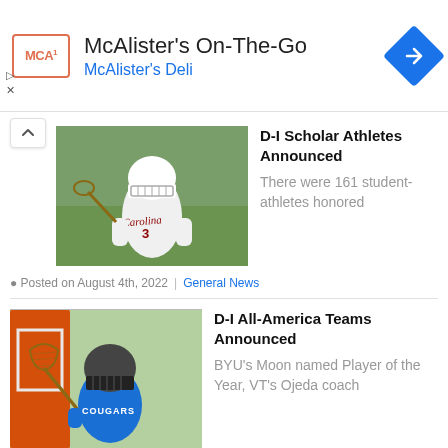[Figure (screenshot): McAlister's On-The-Go advertisement banner with MCA logo, title text, and navigation arrow icon]
McAlister's On-The-Go
McAlister's Deli
[Figure (photo): Lacrosse player wearing Carolina jersey number 3 in white uniform with helmet]
D-I Scholar Athletes Announced
There were 161 student-athletes honored
Posted on August 4th, 2022 | General News
[Figure (photo): Lacrosse player in blue Cougars jersey holding lacrosse stick with helmet]
D-I All-America Teams Announced
BYU's Moon named Player of the Year, VT's Ojeda coach
Posted on May 23rd, 2022 | General News